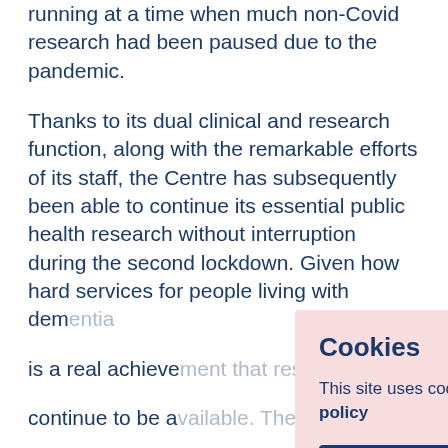running at a time when much non-Covid research had been paused due to the pandemic.
Thanks to its dual clinical and research function, along with the remarkable efforts of its staff, the Centre has subsequently been able to continue its essential public health research without interruption during the second lockdown. Given how hard services for people living with dem... is a real achieve... continue to be a... assessment at t...
Since its openin... Centre and imp... have agreed to take part in research, whether by joining
[Figure (other): Cookie consent banner overlay with title 'Cookies', body text 'This site uses cookies: See our privacy policy', and a 'Dismiss notice' button]